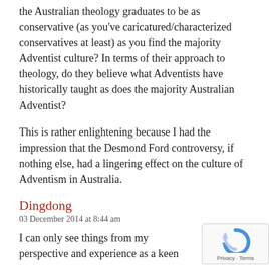the Australian theology graduates to be as conservative (as you've caricatured/characterized conservatives at least) as you find the majority Adventist culture? In terms of their approach to theology, do they believe what Adventists have historically taught as does the majority Australian Adventist?
This is rather enlightening because I had the impression that the Desmond Ford controversy, if nothing else, had a lingering effect on the culture of Adventism in Australia.
Dingdong
03 December 2014 at 8:44 am
I can only see things from my perspective and experience as a keen